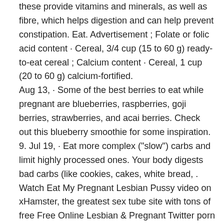these provide vitamins and minerals, as well as fibre, which helps digestion and can help prevent constipation. Eat. Advertisement ; Folate or folic acid content · Cereal, 3/4 cup (15 to 60 g) ready-to-eat cereal ; Calcium content · Cereal, 1 cup (20 to 60 g) calcium-fortified.
Aug 13,  · Some of the best berries to eat while pregnant are blueberries, raspberries, goji berries, strawberries, and acai berries. Check out this blueberry smoothie for some inspiration. 9. Jul 19,  · Eat more complex ("slow") carbs and limit highly processed ones. Your body digests bad carbs (like cookies, cakes, white bread, . Watch Eat My Pregnant Lesbian Pussy video on xHamster, the greatest sex tube site with tons of free Free Online Lesbian & Pregnant Twitter porn movies!
Advertisement ; Folate or folic acid content · Cereal, 3/4 cup (15 to 60 g) ready-to-eat cereal ; Calcium content · Cereal, 1 cup (20 to 60 g) calcium-fortified. So what foods